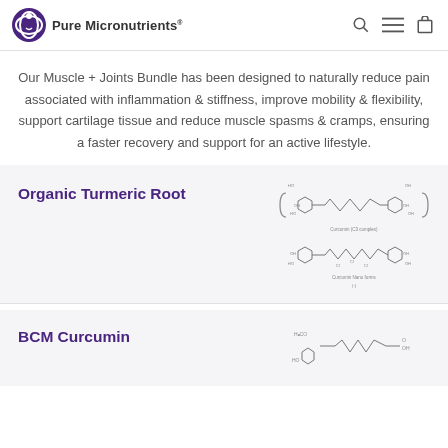Pure Micronutrients®
Our Muscle + Joints Bundle has been designed to naturally reduce pain associated with inflammation & stiffness, improve mobility & flexibility, support cartilage tissue and reduce muscle spasms & cramps, ensuring a faster recovery and support for an active lifestyle.
Organic Turmeric Root
[Figure (schematic): Chemical structure diagrams of Curcumin (Curcumin-C3 complex and Curcuma Nano forms)]
BCM Curcumin
[Figure (schematic): Partial chemical structure diagram of BCM Curcumin]